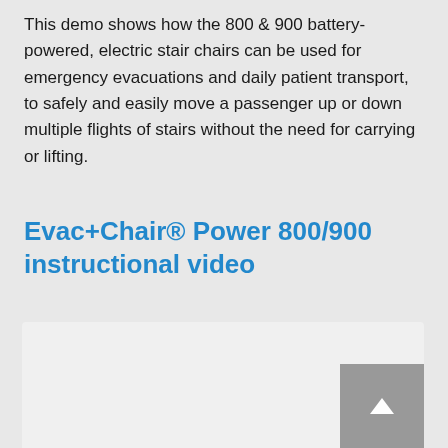This demo shows how the 800 & 900 battery-powered, electric stair chairs can be used for emergency evacuations and daily patient transport, to safely and easily move a passenger up or down multiple flights of stairs without the need for carrying or lifting.
Evac+Chair® Power 800/900 instructional video
[Figure (other): Video embed placeholder box for Evac+Chair Power 800/900 instructional video, with a scroll-to-top button in the bottom right corner]